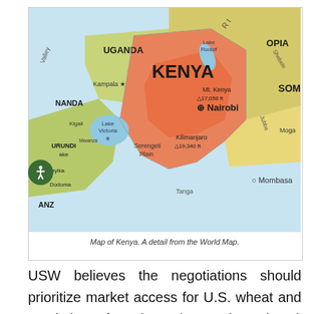[Figure (map): Map of Kenya showing neighboring countries Uganda, Somalia, Tanzania, Ethiopia, and geographic features like Lake Victoria, Lake Rudolf, Mt. Kenya (17,058 ft), Kilimanjaro (19,340 ft), Nairobi, Mombasa, and Serengeti Plain.]
Map of Kenya. A detail from the World Map.
USW believes the negotiations should prioritize market access for U.S. wheat and resolution of sanitary-phytosanitary (SPS) issues and in our comments, we laid out these specific